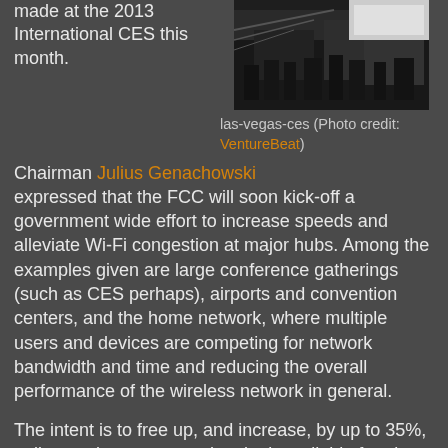made at the 2013 International CES this month.
[Figure (photo): Photo of a crowded CES exhibition floor with people and displays]
Chairman Julius Genachowski expressed that the FCC will soon kick-off a government wide effort to increase speeds and alleviate Wi-Fi congestion at major hubs. Among the examples given are large conference gatherings (such as CES perhaps), airports and convention centers, and the home network, where multiple users and devices are competing for network bandwidth and time and reducing the overall performance of the wireless network in general.
las-vegas-ces (Photo credit: VentureBeat)
The intent is to free up, and increase, by up to 35%, unlicensed spectrum and make it available for ultra-high-speed, high capacity Wi-Fi, or as it's commonly called “Gigabit Wi-Fi”.
The largest expansion of Wi-Fi since 2003, next month should bring the first steps of this action in the form of an